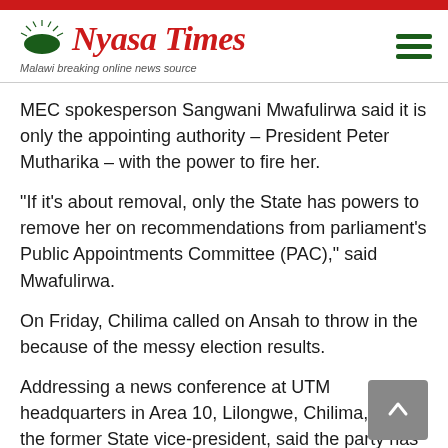Nyasa Times — Malawi breaking online news source
MEC spokesperson Sangwani Mwafulirwa said it is only the appointing authority – President Peter Mutharika – with the power to fire her.
“If it's about removal, only the State has powers to remove her on recommendations from parliament's Public Appointments Committee (PAC),” said Mwafulirwa.
On Friday, Chilima called on Ansah to throw in the because of the messy election results.
Addressing a news conference at UTM headquarters in Area 10, Lilongwe, Chilima, who is the former State vice-president, said the party has gathered evidence of misconduct by the head of the electoral body.